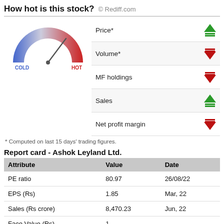How hot is this stock?  © Rediff.com
[Figure (infographic): Gauge/speedometer dial showing cold (blue, left) to hot (red, right), with needle pointing toward the hot/right side]
| Attribute (metric) | Indicator |
| --- | --- |
| Price* | up (green) |
| Volume* | down (red) |
| MF holdings | down (red) |
| Sales | up (green) |
| Net profit margin | down (red) |
* Computed on last 15 days' trading figures.
Report card - Ashok Leyland Ltd.
| Attribute | Value | Date |
| --- | --- | --- |
| PE ratio | 80.97 | 26/08/22 |
| EPS (Rs) | 1.85 | Mar, 22 |
| Sales (Rs crore) | 8,470.23 | Jun, 22 |
| Face Value (Rs) | 1 |  |